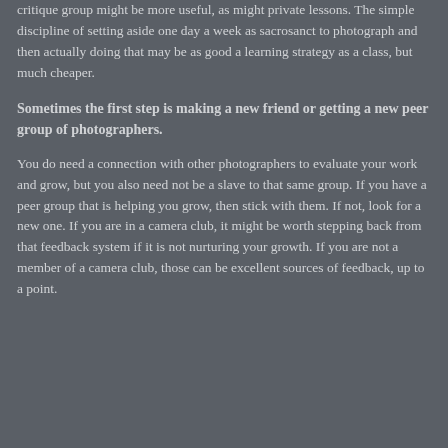critique group might be more useful, as might private lessons. The simple discipline of setting aside one day a week as sacrosanct to photograph and then actually doing that may be as good a learning strategy as a class, but much cheaper.
Sometimes the first step is making a new friend or getting a new peer group of photographers.
You do need a connection with other photographers to evaluate your work and grow, but you also need not be a slave to that same group. If you have a peer group that is helping you grow, then stick with them. If not, look for a new one. If you are in a camera club, it might be worth stepping back from that feedback system if it is not nurturing your growth. If you are not a member of a camera club, those can be excellent sources of feedback, up to a point.